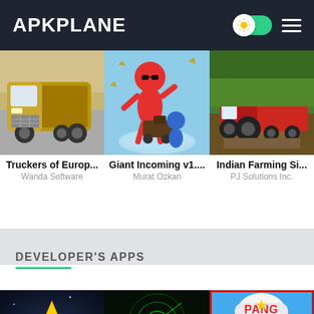APKPLANE
[Figure (screenshot): Thumbnail of Truckers of Europe app — gold/yellow semi truck on road]
Truckers of Europ...
Wanda Software
[Figure (screenshot): Thumbnail of Giant Incoming v1... app — red cartoon character fighting blue character with cannon]
Giant Incoming v1....
Murat Ozkan
[Figure (screenshot): Thumbnail of Indian Farming Si... app — tractor with trailer loaded with hay on dirt road]
Indian Farming Si...
PJ Solutions Inc.
DEVELOPER'S APPS
[Figure (screenshot): Thumbnail of a jet/spaceship shooter game — orange and yellow jet on dark sky]
[Figure (screenshot): Thumbnail of R-TYPE game — green radar/circular graphic on dark background with R·TYPE text]
[Figure (screenshot): Thumbnail of Pang game — cartoon character with baseball cap on blue/red bordered background]